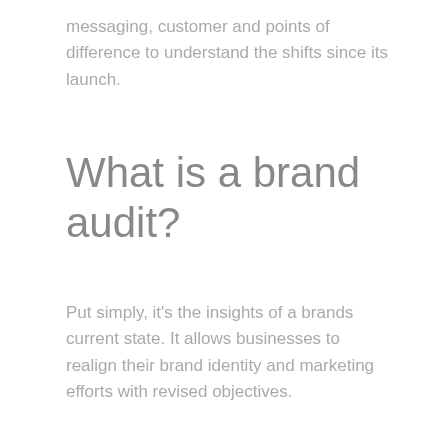messaging, customer and points of difference to understand the shifts since its launch.
What is a brand audit?
Put simply, it's the insights of a brands current state. It allows businesses to realign their brand identity and marketing efforts with revised objectives.